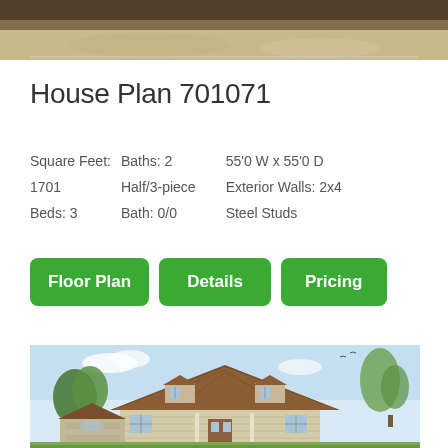[Figure (photo): Top portion of a photo showing trees/outdoor scene, cropped at top of page]
House Plan 701071
Square Feet:  Baths: 2            55'0 W x 55'0 D
1701            Half/3-piece      Exterior Walls: 2x4
Beds: 3         Bath: 0/0          Steel Studs
Floor Plan
Details
Pricing
[Figure (illustration): Architectural rendering/illustration of a Cape Cod style house with brown roof, dormers, attached garage, trees in background]